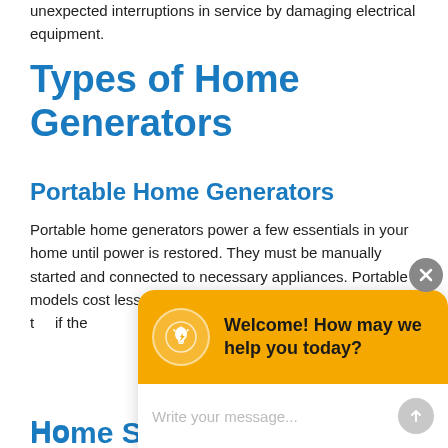unexpected interruptions in service by damaging electrical equipment.
Types of Home Generators
Portable Home Generators
Portable home generators power a few essentials in your home until power is restored. They must be manually started and connected to necessary appliances. Portable models cost less than standby mode... only c... with t... if the...
[Figure (screenshot): Chat widget overlay with yellow header showing a lightbulb icon and the message 'Welcome! How may we help you today?' and a text input field below reading 'Write your message...' with a send button.]
Home Standby Generators